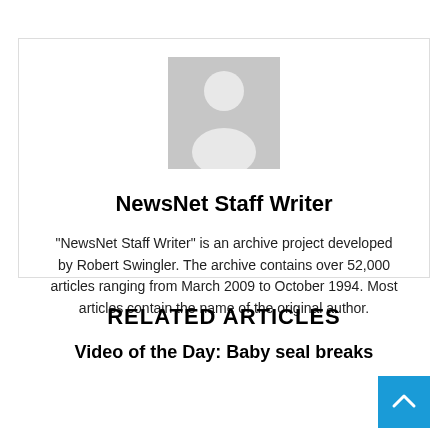[Figure (illustration): Generic person/avatar silhouette placeholder image in gray]
NewsNet Staff Writer
"NewsNet Staff Writer" is an archive project developed by Robert Swingler. The archive contains over 52,000 articles ranging from March 2009 to October 1994. Most articles contain the name of the original author.
RELATED ARTICLES
Video of the Day: Baby seal breaks